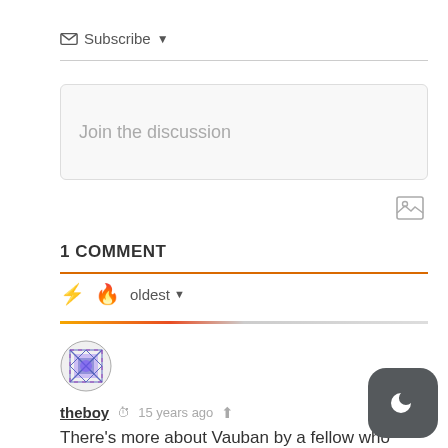Subscribe ▾
Join the discussion
1 COMMENT
oldest ▾
[Figure (illustration): User avatar icon with a geometric blue/purple pattern]
theboy  15 years ago
There's more about Vauban by a fellow who lives there (and who took the photos).